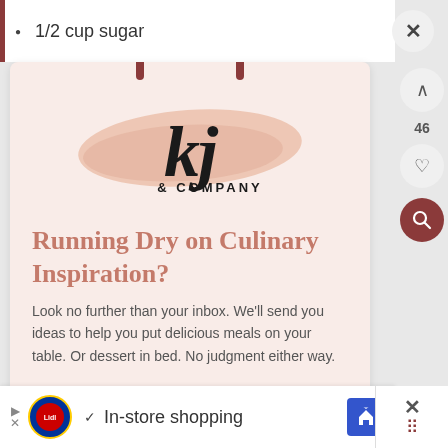1/2 cup sugar
[Figure (logo): kj & COMPANY logo with script lettering over a peach/salmon brush stroke]
Running Dry on Culinary Inspiration?
Look no further than your inbox. We'll send you ideas to help you put delicious meals on your table. Or dessert in bed. No judgment either way.
In-store shopping